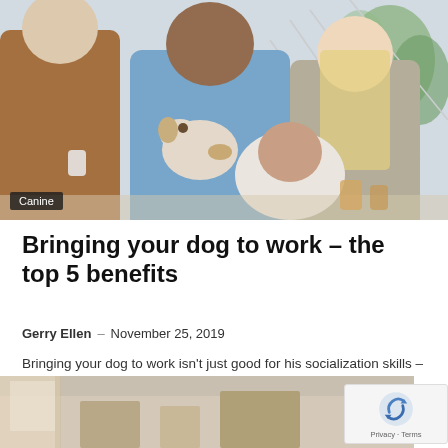[Figure (photo): Photo of people in an office petting a dog; a man in a blue shirt holds a small dog while colleagues gather around smiling]
Canine
Bringing your dog to work – the top 5 benefits
Gerry Ellen – November 25, 2019
Bringing your dog to work isn't just good for his socialization skills – it's also beneficial to you and your co-workers, and can reduce…
[Figure (photo): Partial photo of an indoor scene, likely a home or office interior, partially obscured]
[Figure (other): reCAPTCHA badge with logo and Privacy – Terms links]